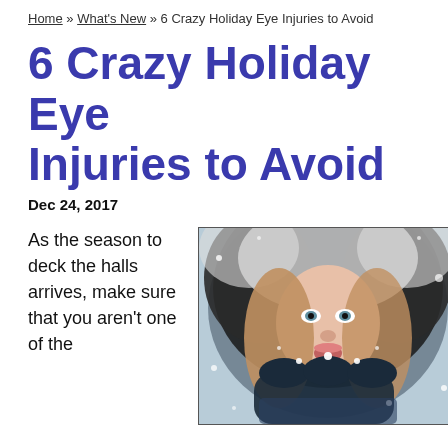Home » What's New » 6 Crazy Holiday Eye Injuries to Avoid
6 Crazy Holiday Eye Injuries to Avoid
Dec 24, 2017
As the season to deck the halls arrives, make sure that you aren't one of the
[Figure (photo): Young woman wearing a fur-trimmed winter hood, blowing snow from her gloved hands into the camera]